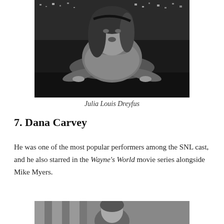[Figure (photo): Black and white photo of Julia Louis-Dreyfus leaning on a desk or table, looking at camera with mouth open, city lights in background]
Julia Louis Dreyfus
7. Dana Carvey
He was one of the most popular performers among the SNL cast, and he also starred in the Wayne's World movie series alongside Mike Myers.
[Figure (photo): Black and white photo of Dana Carvey, partial view showing top of head and upper body, curtain or drapes in background]